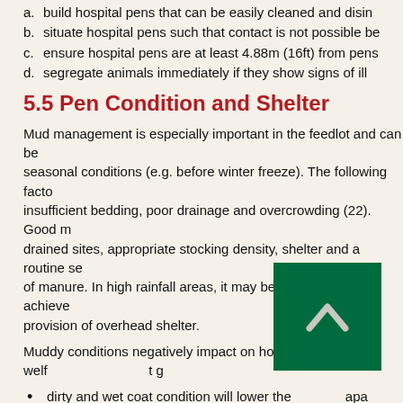a. build hospital pens that can be easily cleaned and disinfected
b. situate hospital pens such that contact is not possible between
c. ensure hospital pens are at least 4.88m (16ft) from pens
d. segregate animals immediately if they show signs of ill
5.5 Pen Condition and Shelter
Mud management is especially important in the feedlot and can be seasonal conditions (e.g. before winter freeze). The following factors insufficient bedding, poor drainage and overcrowding (22). Good m drained sites, appropriate stocking density, shelter and a routine se of manure. In high rainfall areas, it may be very difficult to achieve provision of overhead shelter.
Muddy conditions negatively impact on horse welfare and might g
dirty and wet coat condition will lower the insulating capacity energy needs of the animal for maintenance
the animal will have reduced feed intake if reluctant to venture to feed bunks (22)
more energy is required for the animal to pull its hoof out